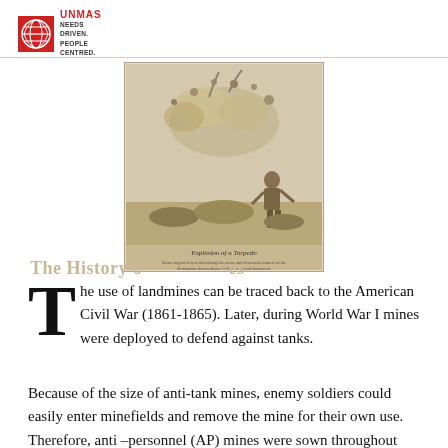UNMAS - Needs Driven. People Centred.
[Figure (illustration): Historical engraving showing soldiers with an explosion, captioned 'Explosion of a torpedo', depicting early landmine/torpedo usage in warfare]
The History of Landmines
The use of landmines can be traced back to the American Civil War (1861-1865). Later, during World War I mines were deployed to defend against tanks.
Because of the size of anti-tank mines, enemy soldiers could easily enter minefields and remove the mine for their own use. Therefore, anti–personnel (AP) mines were sown throughout anti-tank